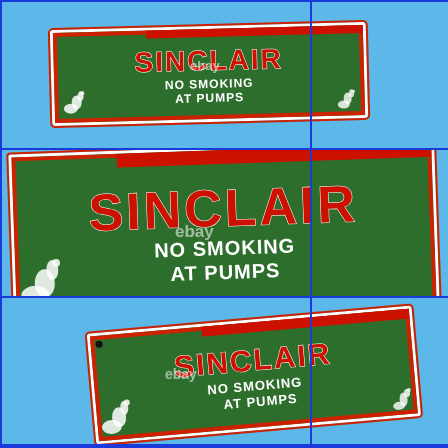[Figure (photo): Four photographs of a Sinclair 'NO SMOKING AT PUMPS' green porcelain enamel sign with brontosaurus dinosaur logo, shown at different zoom levels and angles. The sign has red 'SINCLAIR' text at top, white 'NO SMOKING AT PUMPS' text below, white dinosaur figures on left and right, all on a dark green background with red and white border, against a bright blue background. Each photo has an eBay watermark.]